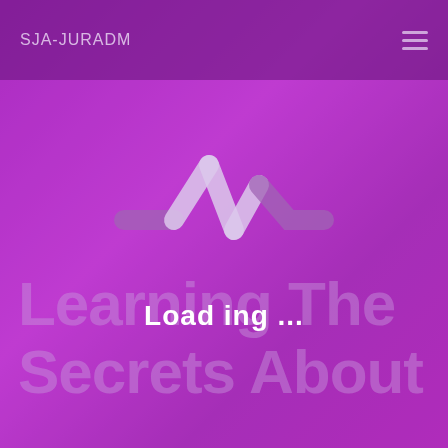SJA-JURADM
[Figure (logo): A checkmark/heartbeat pulse logo icon in white and light purple on a purple background]
Learning The Secrets About
Load ing ...